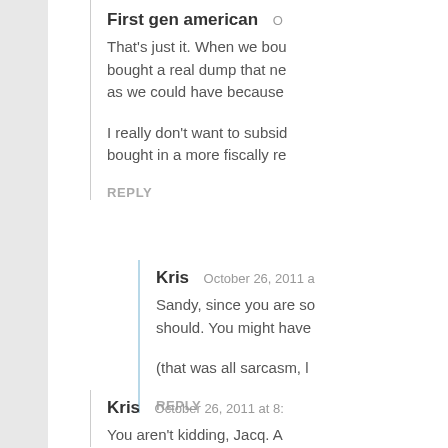First gen american  O
That's just it. When we bou bought a real dump that ne as we could have because
I really don't want to subsid bought in a more fiscally re
REPLY
Kris  October 26, 2011 a
Sandy, since you are so should. You might have
(that was all sarcasm, l
REPLY
Kris  October 26, 2011 at 8:
You aren't kidding, Jacq. A